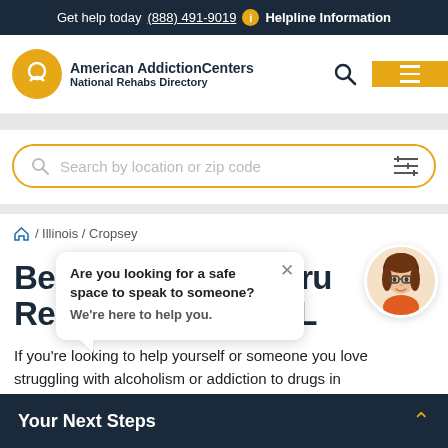Get help today (888) 491-9019  i  Helpline Information
[Figure (logo): American Addiction Centers – National Rehabs Directory logo with golden circle icon]
[Figure (screenshot): Search box with placeholder 'Search by location or zip code' and filter icon, bordered in gold/yellow]
/ Illinois / Cropsey
Best Alcohol and Drug Rehab ... IL
[Figure (illustration): Chat popup: 'Are you looking for a safe space to speak to someone? We're here to help you.' with close X button, and a cartoon female avatar with brown hair and glasses]
If you're looking to help yourself or someone you love struggling with alcoholism or addiction to drugs in
Your Next Steps